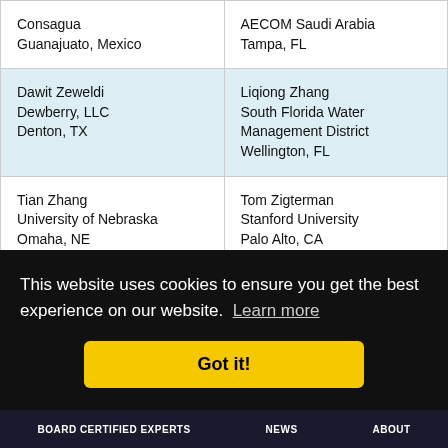| Consagua
Guanajuato, Mexico | AECOM Saudi Arabia
Tampa, FL |
| Dawit Zeweldi
Dewberry, LLC
Denton, TX | Liqiong Zhang
South Florida Water Management District
Wellington, FL |
| Tian Zhang
University of Nebraska
Omaha, NE | Tom Zigterman
Stanford University
Palo Alto, CA |
| Darell D. Zimbelman
Water Systems Operations and Management, LLC
Loveland, CO | Jon Zufelt
HDR, Inc.
Eagle River, AK |
This website uses cookies to ensure you get the best experience on our website. Learn more
Got it!
BOARD CERTIFIED EXPERTS   NEWS   ABOUT